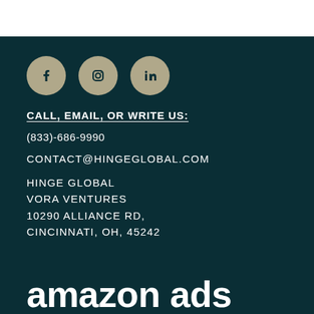[Figure (illustration): Three social media icon circles (Facebook, Instagram, LinkedIn) in tan/gold color on dark teal background]
CALL, EMAIL, OR WRITE US:
(833)-686-9990
CONTACT@HINGEGLOBAL.COM
HINGE GLOBAL
VORA VENTURES
10290 ALLIANCE RD,
CINCINNATI, OH, 45242
amazon ads